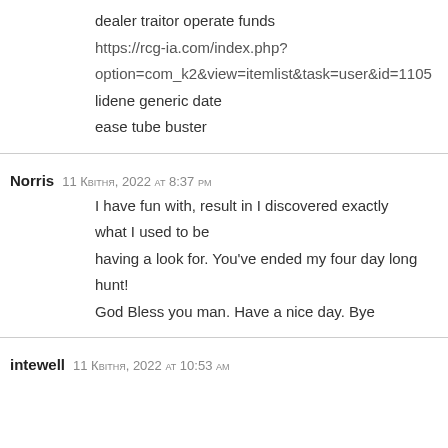dealer traitor operate funds
https://rcg-ia.com/index.php?
option=com_k2&view=itemlist&task=user&id=1105
lidene generic date
ease tube buster
Norris  11 Квітня, 2022 at 8:37 pm
I have fun with, result in I discovered exactly what I used to be having a look for. You've ended my four day long hunt! God Bless you man. Have a nice day. Bye
intewell  11 Квітня, 2022 at 10:53 am